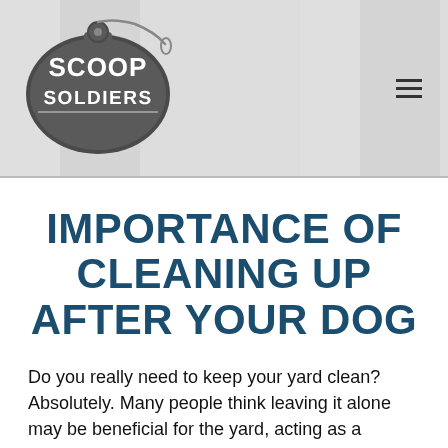[Figure (logo): Scoop Soldiers logo with dog tag graphic and hamburger menu icon on a gray textured background]
IMPORTANCE OF CLEANING UP AFTER YOUR DOG
Do you really need to keep your yard clean? Absolutely. Many people think leaving it alone may be beneficial for the yard, acting as a fertilizer of sorts. However, dog poop